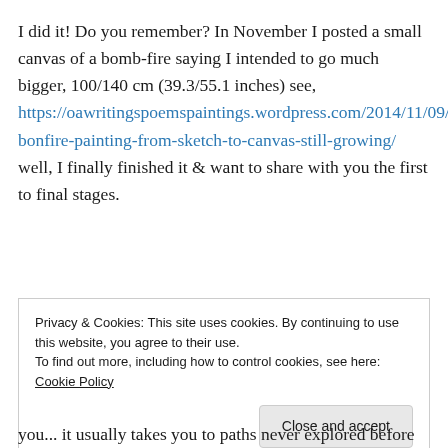I did it! Do you remember? In November I posted a small canvas of a bomb-fire saying I intended to go much bigger, 100/140 cm (39.3/55.1 inches) see, https://oawritingspoemspaintings.wordpress.com/2014/11/09/my-bonfire-painting-from-sketch-to-canvas-still-growing/ well, I finally finished it & want to share with you the first to final stages.
Privacy & Cookies: This site uses cookies. By continuing to use this website, you agree to their use. To find out more, including how to control cookies, see here: Cookie Policy
you... it usually takes you to paths never explored before